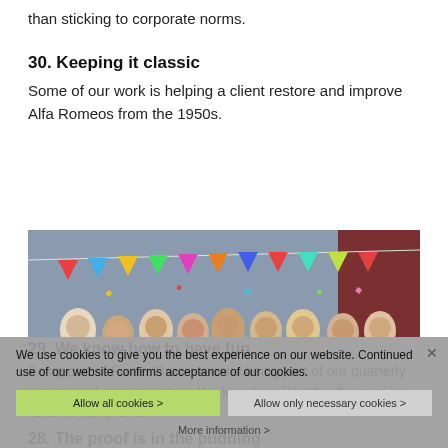than sticking to corporate norms.
30. Keeping it classic
Some of our work is helping a client restore and improve Alfa Romeos from the 1950s.
[Figure (photo): Large group photo of ForrestBrown employees celebrating outdoors, with colorful bunting and confetti overhead, posing together in front of a building near a riverside.]
29. We know how to have fun
Being part of ForrestBrown means being part of our quarterly socials and annual parties. We love to celebrate after working hard for our clients.
28. The proof is in the pudding